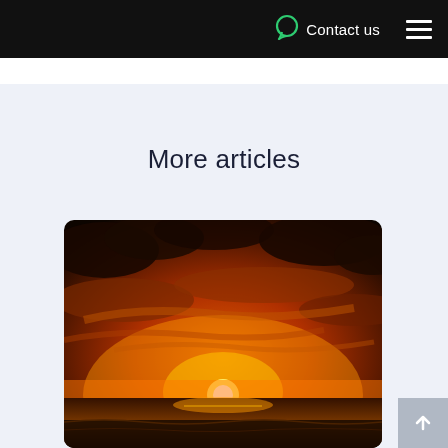Contact us
More articles
[Figure (photo): A dramatic sunset over the ocean with vivid orange and dark cloudy sky]